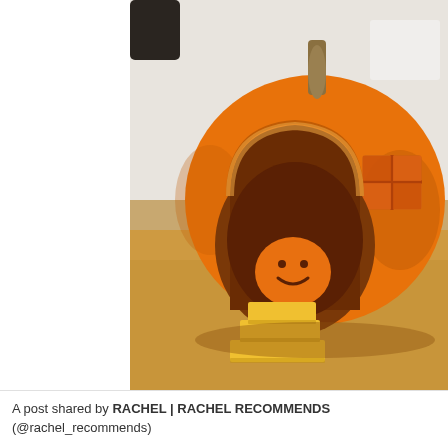[Figure (photo): A carved pumpkin shaped like a little house/home. The pumpkin has a large arched door opening cut into the front, a window carved on the right side, and a small smiley-face pumpkin figure sitting inside the hollow interior. Steps made from pumpkin flesh lead down from the door opening onto a wooden surface.]
A post shared by RACHEL | RACHEL RECOMMENDS (@rachel_recommends)